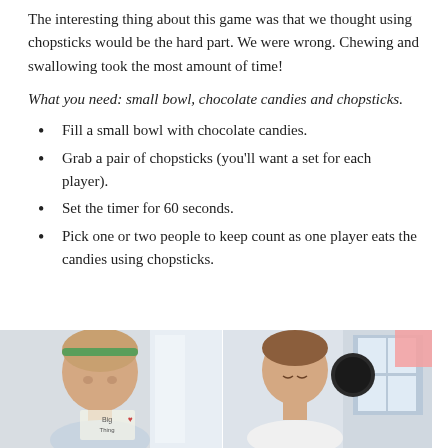The interesting thing about this game was that we thought using chopsticks would be the hard part. We were wrong. Chewing and swallowing took the most amount of time!
What you need: small bowl, chocolate candies and chopsticks.
Fill a small bowl with chocolate candies.
Grab a pair of chopsticks (you'll want a set for each player).
Set the timer for 60 seconds.
Pick one or two people to keep count as one player eats the candies using chopsticks.
[Figure (photo): Two photos side by side: left shows a girl with a green headband, right shows a boy in a white shirt looking down, both appearing to eat or use chopsticks. A pink square overlay is visible in the top-right corner of the image area.]